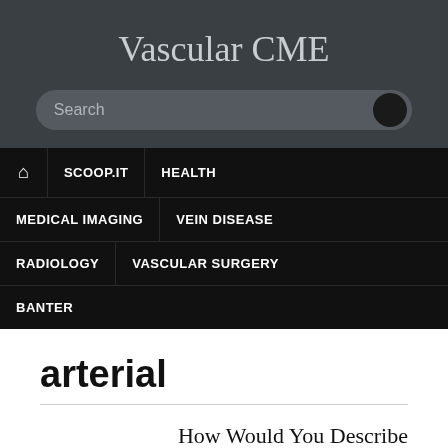Vascular CME
Search
🏠 SCOOP.IT HEALTH MEDICAL IMAGING VEIN DISEASE RADIOLOGY VASCULAR SURGERY BANTER
arterial
How Would You Describe This Doppler Waveform?